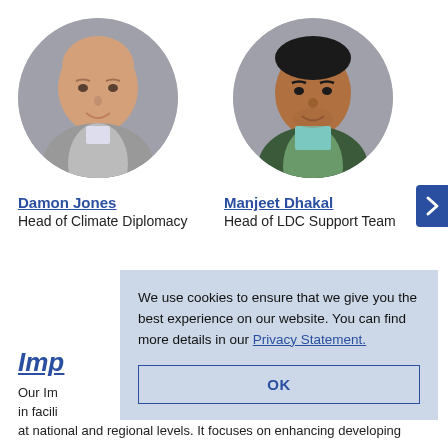[Figure (photo): Circular headshot photo of Damon Jones, a bald white man in a suit jacket, against a grey background]
[Figure (photo): Circular headshot photo of Manjeet Dhakal, a South Asian man in a plaid shirt, against a grey background]
Damon Jones
Head of Climate Diplomacy
Manjeet Dhakal
Head of LDC Support Team
We use cookies to ensure that we give you the best experience on our website. You can find more details in our Privacy Statement.
OK
Imp
Our Im
in facili
at national and regional levels. It focuses on enhancing developing